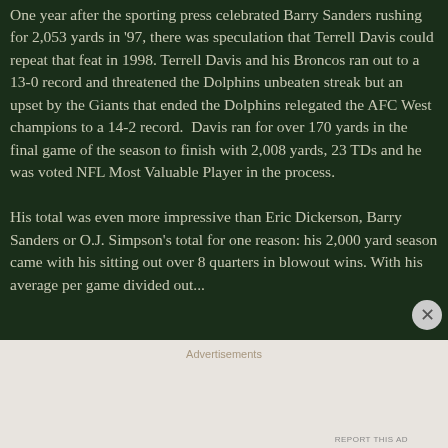One year after the sporting press celebrated Barry Sanders rushing for 2,053 yards in '97, there was speculation that Terrell Davis could repeat that feat in 1998. Terrell Davis and his Broncos ran out to a 13-0 record and threatened the Dolphins unbeaten streak but an upset by the Giants that ended the Dolphins relegated the AFC West champions to a 14-2 record. Davis ran for over 170 yards in the final game of the season to finish with 2,008 yards, 23 TDs and he was voted NFL Most Valuable Player in the process.
His total was even more impressive than Eric Dickerson, Barry Sanders or O.J. Simpson's total for one reason: his 2,000 yard season came with his sitting out over 8 quarters in blowout wins. With his average per game divided out...
Advertisements